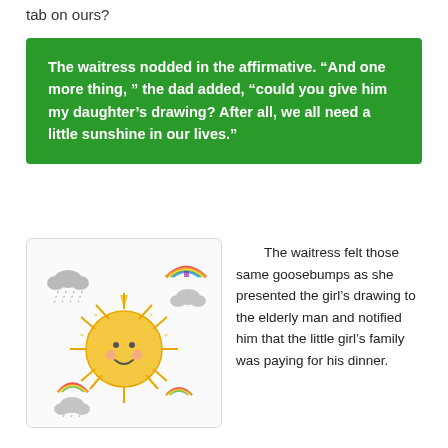tab on ours?
The waitress nodded in the affirmative. “And one more thing, ” the dad added, “could you give him my daughter’s drawing? After all, we all need a little sunshine in our lives.”
[Figure (illustration): Child's drawing of a smiling sun with rays, surrounded by clouds, rainbows, and rain droplets on a white background]
The waitress felt those same goosebumps as she presented the girl’s drawing to the elderly man and notified him that the little girl’s family was paying for his dinner.